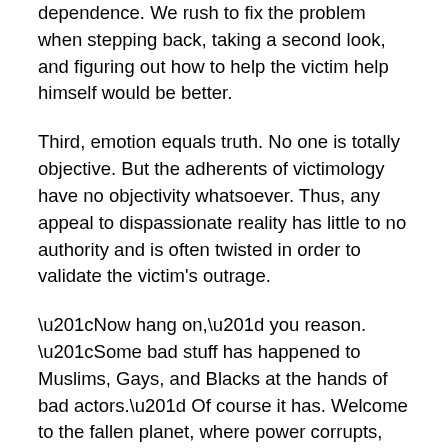dependence. We rush to fix the problem when stepping back, taking a second look, and figuring out how to help the victim help himself would be better.
Third, emotion equals truth. No one is totally objective. But the adherents of victimology have no objectivity whatsoever. Thus, any appeal to dispassionate reality has little to no authority and is often twisted in order to validate the victim's outrage.
“Now hang on,” you reason. “Some bad stuff has happened to Muslims, Gays, and Blacks at the hands of bad actors.” Of course it has. Welcome to the fallen planet, where power corrupts, racism lives, and gender-disordered people are hated for something that feels out of their control.
Any society worthy of the title civilized would want to